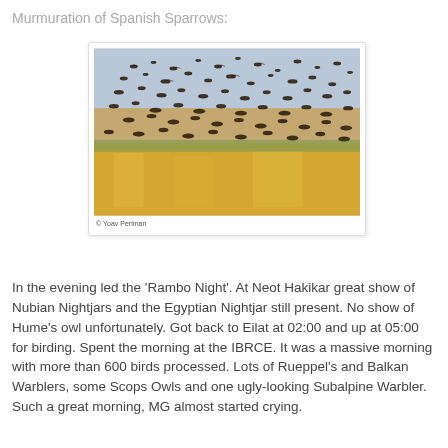Murmuration of Spanish Sparrows:
[Figure (photo): A large murmuration of Spanish Sparrows flying over a golden wheat/grass field. Hundreds of small dark birds fill the sky above the field. Photo credit: © Yoav Perlman]
© Yoav Perlman
In the evening led the 'Rambo Night'. At Neot Hakikar great show of Nubian Nightjars and the Egyptian Nightjar still present. No show of Hume's owl unfortunately. Got back to Eilat at 02:00 and up at 05:00 for birding. Spent the morning at the IBRCE. It was a massive morning with more than 600 birds processed. Lots of Rueppel's and Balkan Warblers, some Scops Owls and one ugly-looking Subalpine Warbler. Such a great morning, MG almost started crying.